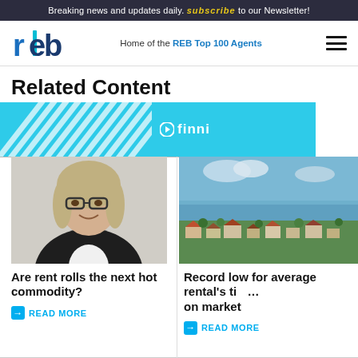Breaking news and updates daily. Subscribe to our Newsletter!
[Figure (logo): REB logo - red and blue letters 'reb' with a blue vertical accent]
Home of the REB Top 100 Agents
Related Content
[Figure (illustration): Finni brand banner with cyan/light blue background and white diagonal stripes on the left side, finni logo text on the right]
[Figure (photo): Professional woman with blonde hair and glasses wearing a dark blazer, smiling, professional headshot]
[Figure (photo): Aerial view of a coastal suburb with green trees, houses, and ocean visible in the background under a partly cloudy sky]
Are rent rolls the next hot commodity?
READ MORE
Record low for average rental's time on market
READ MORE